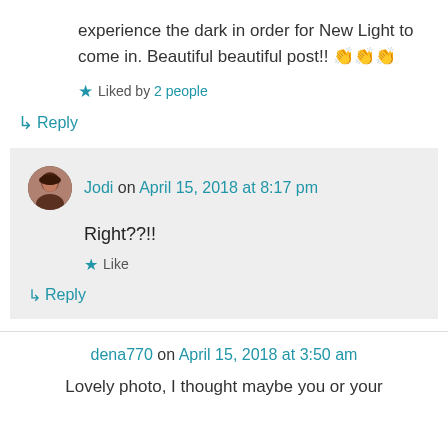experience the dark in order for New Light to come in. Beautiful beautiful post!! 👏👏👏
★ Liked by 2 people
↳ Reply
Jodi on April 15, 2018 at 8:17 pm
Right??!!
★ Like
↳ Reply
dena770 on April 15, 2018 at 3:50 am
Lovely photo, I thought maybe you or your